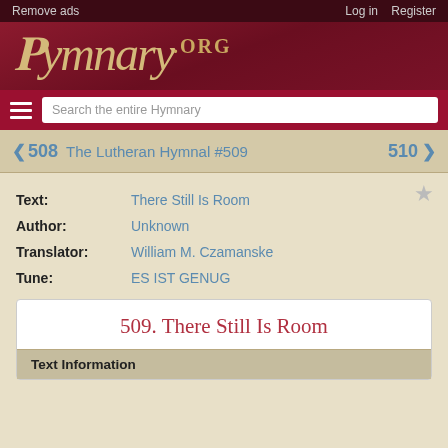Remove ads | Log in | Register
[Figure (logo): Hymnary.org logo in cream italic script on dark red/maroon background]
Search the entire Hymnary
< 508   The Lutheran Hymnal #509   510 >
Text: There Still Is Room
Author: Unknown
Translator: William M. Czamanske
Tune: ES IST GENUG
509. There Still Is Room
Text Information